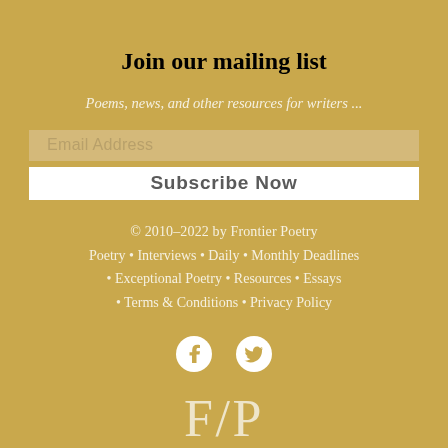Join our mailing list
Poems, news, and other resources for writers ...
Email Address
Subscribe Now
© 2010–2022 by Frontier Poetry
Poetry • Interviews • Daily • Monthly Deadlines • Exceptional Poetry • Resources • Essays • Terms & Conditions • Privacy Policy
[Figure (illustration): Facebook and Twitter social media icons in white]
[Figure (logo): F/P logo text in large serif font]